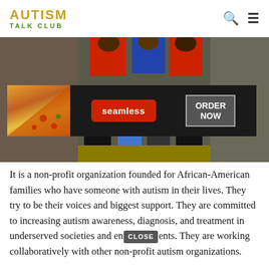AUTISM TALK CLUB
[Figure (photo): Group of African-American people in red and blue shirts standing outdoors, partially overlaid by a Seamless food delivery advertisement banner showing pizza and 'ORDER NOW' button]
It is a non-profit organization founded for African-American families who have someone with autism in their lives. They try to be their voices and biggest support. They are committed to increasing autism awareness, diagnosis, and treatment in underserved societies and environments. They are working collaboratively with other non-profit autism organizations.